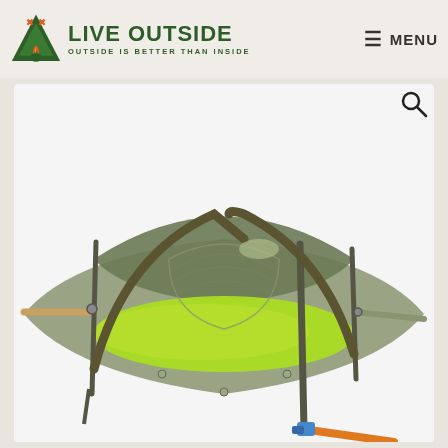LIVE OUTSIDE — OUTSIDE IS BETTER THAN INSIDE | MENU
[Figure (photo): A suspended tree tent (hammock tent) in olive green and bright lime green, hanging from straps with an orange ratchet strap visible in the lower right. The tent has mesh panels, arched poles, and is designed to be hung between trees off the ground.]